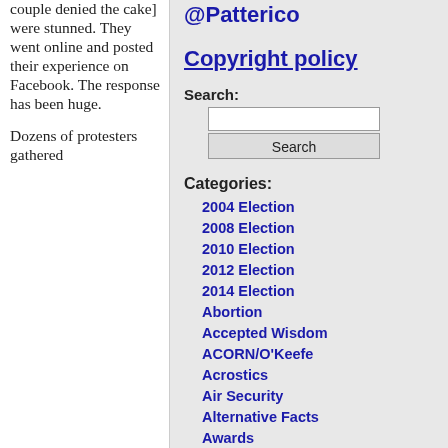couple denied the cake] were stunned. They went online and posted their experience on Facebook. The response has been huge.
Dozens of protesters gathered
@Patterico
Copyright policy
Search:
Categories:
2004 Election
2008 Election
2010 Election
2012 Election
2014 Election
Abortion
Accepted Wisdom
ACORN/O'Keefe
Acrostics
Air Security
Alternative Facts
Awards
Bach Cantatas
Bear Flag League
Blogging Matters
Bogus Statistics
Books
Brad Friedman